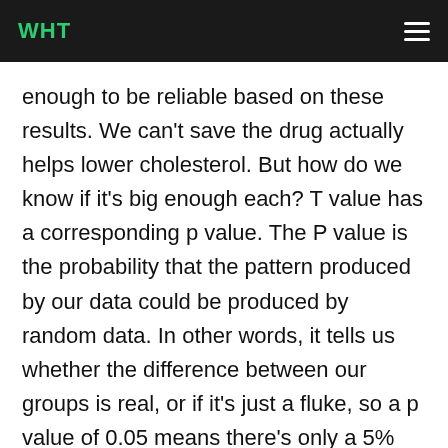WHT
enough to be reliable based on these results. We can't save the drug actually helps lower cholesterol. But how do we know if it's big enough each? T value has a corresponding p value. The P value is the probability that the pattern produced by our data could be produced by random data. In other words, it tells us whether the difference between our groups is real, or if it's just a fluke, so a p value of 0.05 means there's only a 5%